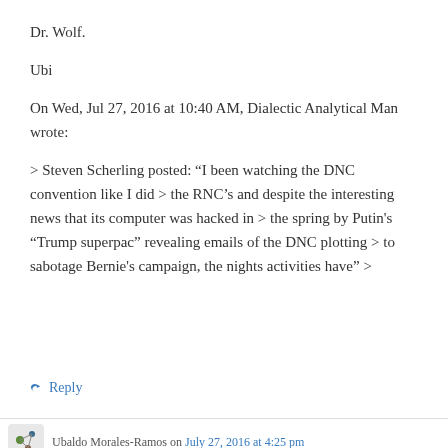Dr. Wolf.
Ubi
On Wed, Jul 27, 2016 at 10:40 AM, Dialectic Analytical Man wrote:
> Steven Scherling posted: “I been watching the DNC convention like I did > the RNC’s and despite the interesting news that its computer was hacked in > the spring by Putin's “Trump superpac” revealing emails of the DNC plotting > to sabotage Bernie's campaign, the nights activities have” >
↪ Reply
Ubaldo Morales-Ramos on July 27, 2016 at 4:25 pm